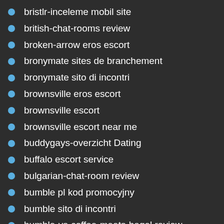bristlr-inceleme mobil site
british-chat-rooms review
broken-arrow eros escort
bronymate sites de branchement
bronymate sito di incontri
brownsville eros escort
brownsville escort
brownsville escort near me
buddygays-overzicht Dating
buffalo escort service
bulgarian-chat-room review
bumble pl kod promocyjny
bumble sito di incontri
bumble-vs-coffee-meets-bagel review
bumble-vs-coffee-meets-bagel sites